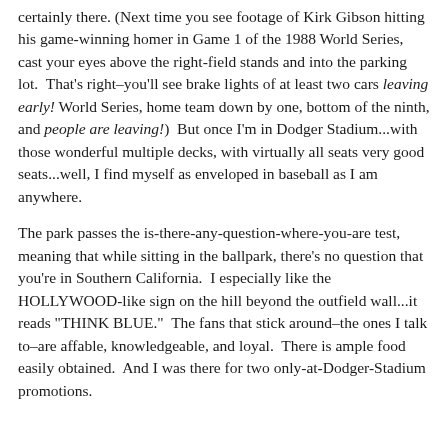certainly there. (Next time you see footage of Kirk Gibson hitting his game-winning homer in Game 1 of the 1988 World Series, cast your eyes above the right-field stands and into the parking lot. That's right–you'll see brake lights of at least two cars leaving early! World Series, home team down by one, bottom of the ninth, and people are leaving!) But once I'm in Dodger Stadium...with those wonderful multiple decks, with virtually all seats very good seats...well, I find myself as enveloped in baseball as I am anywhere.
The park passes the is-there-any-question-where-you-are test, meaning that while sitting in the ballpark, there's no question that you're in Southern California. I especially like the HOLLYWOOD-like sign on the hill beyond the outfield wall...it reads "THINK BLUE." The fans that stick around–the ones I talk to–are affable, knowledgeable, and loyal. There is ample food easily obtained. And I was there for two only-at-Dodger-Stadium promotions.